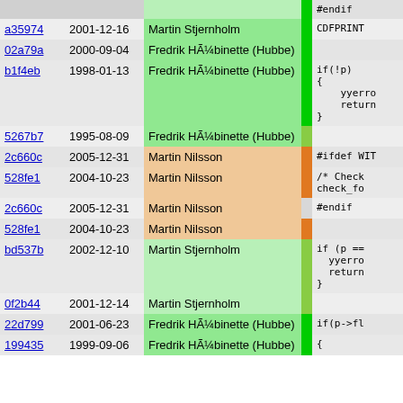| hash | date | author | bar | code |
| --- | --- | --- | --- | --- |
|  |  |  |  | #endif |
| a35974 | 2001-12-16 | Martin Stjernholm | | | CDFPRINT |
| 02a79a | 2000-09-04 | Fredrik HÃ¼binette (Hubbe) | | |  |
| b1f4eb | 1998-01-13 | Fredrik HÃ¼binette (Hubbe) | | | if(!p)
{
    yyerro
    return
} |
| 5267b7 | 1995-08-09 | Fredrik HÃ¼binette (Hubbe) | | |  |
| 2c660c | 2005-12-31 | Martin Nilsson | | | #ifdef WIT |
| 528fe1 | 2004-10-23 | Martin Nilsson | | | /* Check
check_fo |
| 2c660c | 2005-12-31 | Martin Nilsson | | | #endif |
| 528fe1 | 2004-10-23 | Martin Nilsson | | |  |
| bd537b | 2002-12-10 | Martin Stjernholm | | | if (p ==
  yyerro
  return
} |
| 0f2b44 | 2001-12-14 | Martin Stjernholm | | |  |
| 22d799 | 2001-06-23 | Fredrik HÃ¼binette (Hubbe) | | | if(p->fl |
| 199435 | 1999-09-06 | Fredrik HÃ¼binette (Hubbe) | | | { |